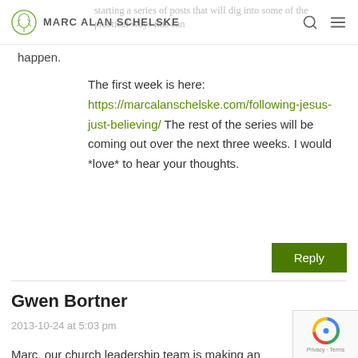MARC ALAN SCHELSKE
starting a series of posts that will dig into some of the practical ways this can happen.
The first week is here: https://marcalanschelske.com/following-jesus-just-believing/ The rest of the series will be coming out over the next three weeks. I would *love* to hear your thoughts.
Reply
Gwen Bortner
2013-10-24 at 5:03 pm
Marc, our church leadership team is making an